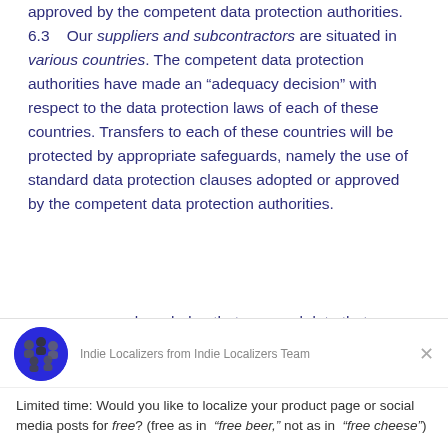approved by the competent data protection authorities. 6.3 Our suppliers and subcontractors are situated in various countries. The competent data protection authorities have made an “adequacy decision” with respect to the data protection laws of each of these countries. Transfers to each of these countries will be protected by appropriate safeguards, namely the use of standard data protection clauses adopted or approved by the competent data protection authorities.
ou acknowledge that personal data that you
Indie Localizers from Indie Localizers Team
Limited time: Would you like to localize your product page or social media posts for free? (free as in “free beer,” not as in “free cheese”)
Reply to Indie Localizers
Chat ⚡ by Drift